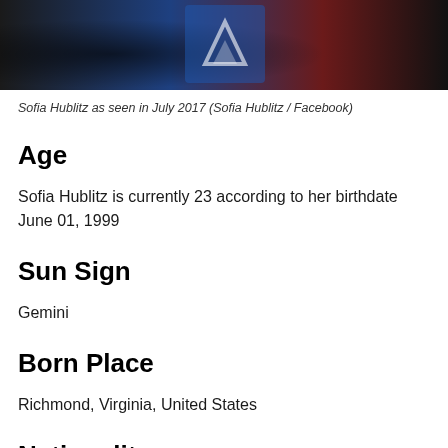[Figure (photo): Cropped photo of Sofia Hublitz at an event, partially visible with blue and red background banner]
Sofia Hublitz as seen in July 2017 (Sofia Hublitz / Facebook)
Age
Sofia Hublitz is currently 23 according to her birthdate June 01, 1999
Sun Sign
Gemini
Born Place
Richmond, Virginia, United States
Nationality